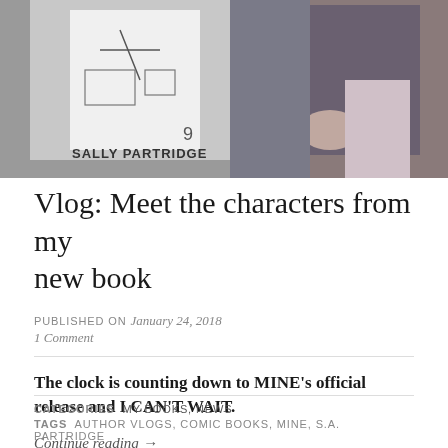[Figure (photo): Photo of a person holding up a book with cover text 'SALLY PARTRIDGE' visible, alongside another image of a person]
Vlog: Meet the characters from my new book
PUBLISHED ON January 24, 2018
1 Comment
The clock is counting down to MINE's official release and I CAN'T WAIT.
Continue reading →
CATEGORIES  MY BOOKS, NEWS
TAGS  AUTHOR VLOGS, COMIC BOOKS, MINE, S.A. PARTRIDGE